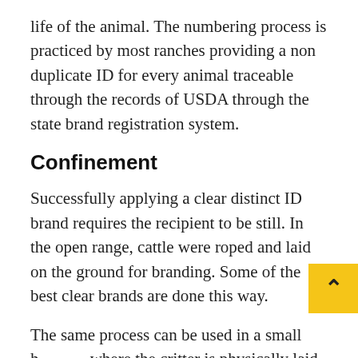life of the animal. The numbering process is practiced by most ranches providing a non duplicate ID for every animal traceable through the records of USDA through the state brand registration system.
Confinement
Successfully applying a clear distinct ID brand requires the recipient to be still. In the open range, cattle were roped and laid on the ground for branding. Some of the best clear brands are done this way.
The same process can be used in a small h where the critter is physically laid down, not on the open range, but in a back yard corral.